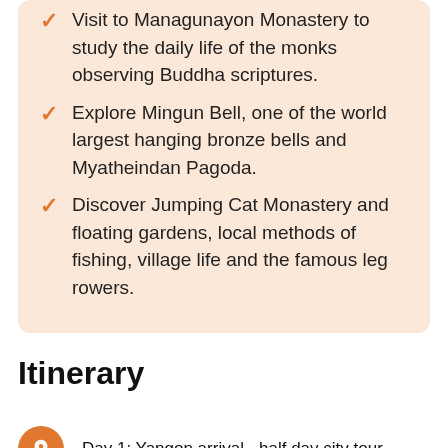Visit to Managunayon Monastery to study the daily life of the monks observing Buddha scriptures.
Explore Mingun Bell, one of the world largest hanging bronze bells and Myatheindan Pagoda.
Discover Jumping Cat Monastery and floating gardens, local methods of fishing, village life and the famous leg rowers.
Itinerary
Day 1: Yangon arrival - half day city tour
Day 2: Yangon - Kyaikhtiyo (Golden Rock)